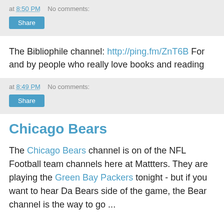at 8:50 PM   No comments:
Share
The Bibliophile channel: http://ping.fm/ZnT6B For and by people who really love books and reading
at 8:49 PM   No comments:
Share
Chicago Bears
The Chicago Bears channel is on of the NFL Football team channels here at Mattters. They are playing the Green Bay Packers tonight - but if you want to hear Da Bears side of the game, the Bear channel is the way to go ...